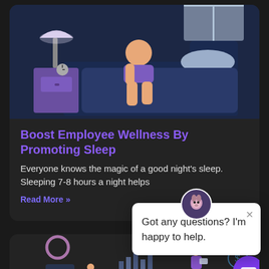[Figure (illustration): Bedroom scene at night showing a person sitting/sleeping on a bed with a nightstand, lamp, and pillow. Dark blue color palette.]
Boost Employee Wellness By Promoting Sleep
Everyone knows the magic of a good night's sleep. Sleeping 7-8 hours a night helps
Read More »
[Figure (illustration): Chatbot popup with donkey mascot avatar, close button (×), and text: Got any questions? I'm happy to help.]
Got any questions? I'm happy to help.
[Figure (illustration): Partial view of a second card showing people and data visualization icons in a dark background.]